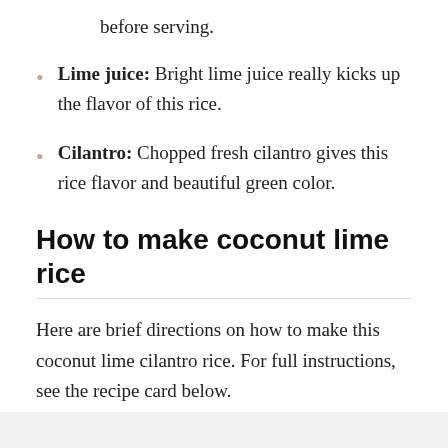before serving.
Lime juice: Bright lime juice really kicks up the flavor of this rice.
Cilantro: Chopped fresh cilantro gives this rice flavor and beautiful green color.
How to make coconut lime rice
Here are brief directions on how to make this coconut lime cilantro rice. For full instructions, see the recipe card below.